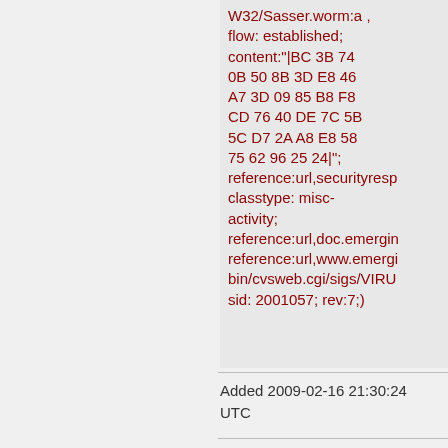W32/Sasser.worm:a , flow: established; content:"|BC 3B 74 0B 50 8B 3D E8 46 A7 3D 09 85 B8 F8 CD 76 40 DE 7C 5B 5C D7 2A A8 E8 58 75 62 96 25 24|"; reference:url,securityresp classtype: misc-activity; reference:url,doc.emergin reference:url,www.emergi bin/cvsweb.cgi/sigs/VIRU sid: 2001057; rev:7;)
Added 2009-02-16 21:30:24 UTC
alert tcp